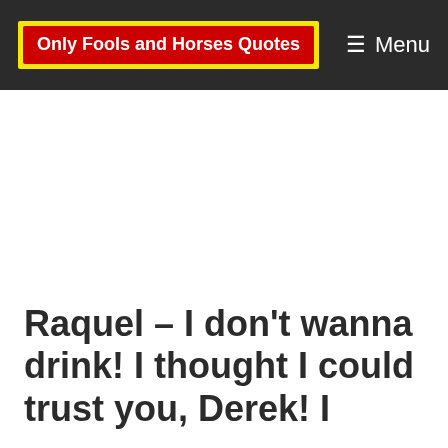Only Fools and Horses Quotes   ☰ Menu
Raquel – I don't wanna drink! I thought I could trust you, Derek! I